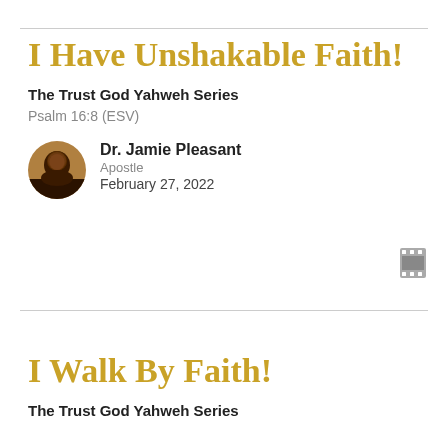I Have Unshakable Faith!
The Trust God Yahweh Series
Psalm 16:8 (ESV)
Dr. Jamie Pleasant
Apostle
February 27, 2022
[Figure (photo): Circular avatar photo of Dr. Jamie Pleasant]
I Walk By Faith!
The Trust God Yahweh Series